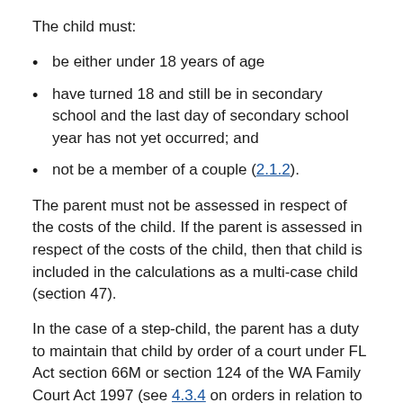The child must:
be either under 18 years of age
have turned 18 and still be in secondary school and the last day of secondary school year has not yet occurred; and
not be a member of a couple (2.1.2).
The parent must not be assessed in respect of the costs of the child. If the parent is assessed in respect of the costs of the child, then that child is included in the calculations as a multi-case child (section 47).
In the case of a step-child, the parent has a duty to maintain that child by order of a court under FL Act section 66M or section 124 of the WA Family Court Act 1997 (see 4.3.4 on orders in relation to step-children).
If the parent does not have such an order, they may be able to apply for a change of assessment in special